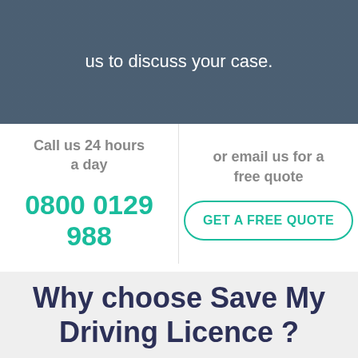You could face a disqualification. Please contact us to discuss your case.
Call us 24 hours a day
or email us for a free quote
0800 0129 988
GET A FREE QUOTE
Why choose Save My Driving Licence ?